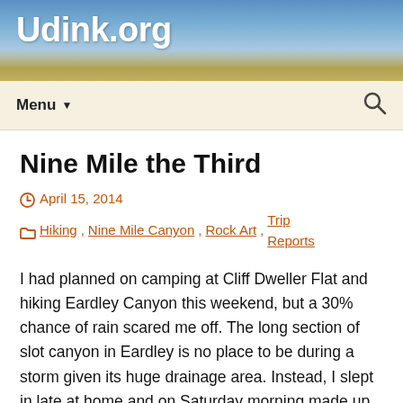Udink.org
Nine Mile the Third
April 15, 2014   Hiking, Nine Mile Canyon, Rock Art, Trip Reports
I had planned on camping at Cliff Dweller Flat and hiking Eardley Canyon this weekend, but a 30% chance of rain scared me off. The long section of slot canyon in Eardley is no place to be during a storm given its huge drainage area. Instead, I slept in late at home and on Saturday morning made up my mind to hit Nine Mile Canyon once again. There were several sites I wanted to visit: some I’d seen from a distance on my last trip, some I’d gleaned from the internet, and others I learned of from a friend. At the very